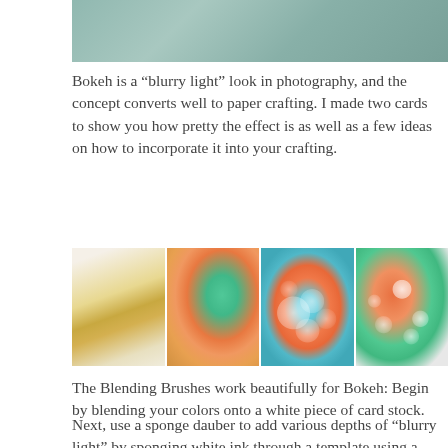[Figure (photo): Partial top image showing craft supplies on a hexagonal tile surface with teal/green card stock]
Bokeh is a “blurry light” look in photography, and the concept converts well to paper crafting. I made two cards to show you how pretty the effect is as well as a few ideas on how to incorporate it into your crafting.
[Figure (photo): Four step-by-step craft photos showing: 1) white card stock with yellow ink blending, 2) colorful orange and teal blended background, 3) circle stencil template over colorful card, 4) hand using dauber with ink on colorful card]
The Blending Brushes work beautifully for Bokeh: Begin by blending your colors onto a white piece of card stock.
Next, use a sponge dauber to add various depths of “blurry light” by sponging white ink through a template using a